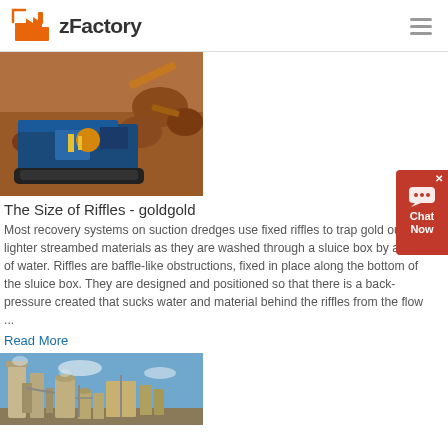zFactory
[Figure (photo): Blue mobile rock crusher/excavator machine on rocky terrain with orange soil and boulders in background]
The Size of Riffles - goldgold
Most recovery systems on suction dredges use fixed riffles to trap gold out of lighter streambed materials as they are washed through a sluice box by a flow of water. Riffles are baffle-like obstructions, fixed in place along the bottom of the sluice box. They are designed and positioned so that there is a back-pressure created that sucks water and material behind the riffles from the flow ...
Read More
[Figure (photo): Industrial factory or chemical plant with tall metal silos, towers and processing equipment against a blue sky]